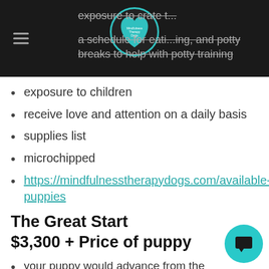Navigation bar with logo and menu items
exposure to children
receive love and attention on a daily basis
supplies list
microchipped
https://mindfulnesstherapydogs.com/available-puppies
The Great Start
$3,300 + Price of puppy
your puppy would advance from the Preschool program and continue training until four months old
trained for positive interactions through self